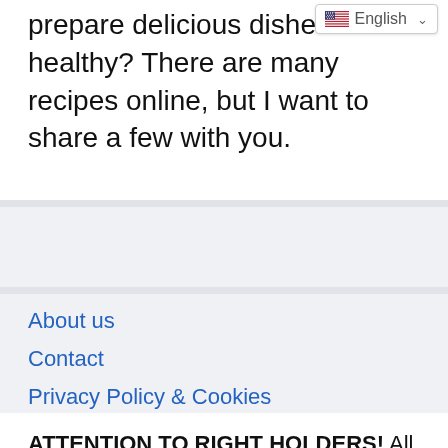prepare delicious dishes healthy? There are many recipes online, but I want to share a few with you.
[Figure (screenshot): Language selector dropdown showing English with US flag]
About us
Contact
Privacy Policy & Cookies
ATTENTION TO RIGHT HOLDERS! All materials are posted on the site strictly for informational and educational purposes! If you believe that the posting of any material